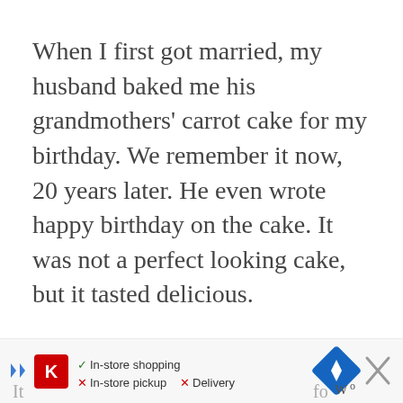When I first got married, my husband baked me his grandmothers' carrot cake for my birthday. We remember it now, 20 years later. He even wrote happy birthday on the cake. It was not a perfect looking cake, but it tasted delicious.
Over time I've made carrot cakes, but none really had me dreaming about it after one slice, except THIS ONE!
[Figure (other): Advertisement banner showing Kroger store services: In-store shopping (checkmark), In-store pickup (X), Delivery (X), with navigation icon and close button]